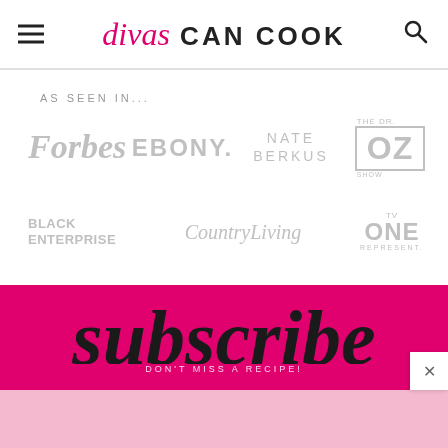divas CAN COOK
AS SEEN IN...
[Figure (logo): Forbes logo in gray]
[Figure (logo): EBONY logo in gray]
[Figure (logo): NATE BERKUS logo in gray]
[Figure (logo): The Dr. OZ Show logo in gray]
[Figure (logo): BLACK ENTERPRISE logo in gray]
[Figure (logo): CountryLiving logo in gray]
[Figure (logo): TV ONE REPRESENT logo in gray]
subscribe
DON'T MISS A RECIPE!